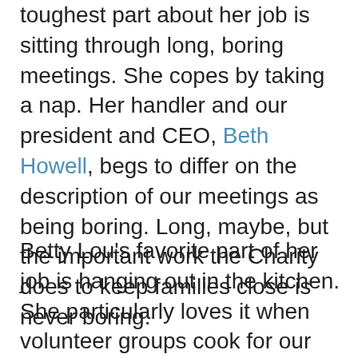toughest part about her job is sitting through long, boring meetings. She copes by taking a nap. Her handler and our president and CEO, Beth Howell, begs to differ on the description of our meetings as being boring. Long, maybe, but the important work the Charity does to keep families close is never boring.
Betty Lou's favorite part of her job is hanging out in the kitchen. She particularly loves it when volunteer groups cook for our families. "I especially like bacon and the peanut